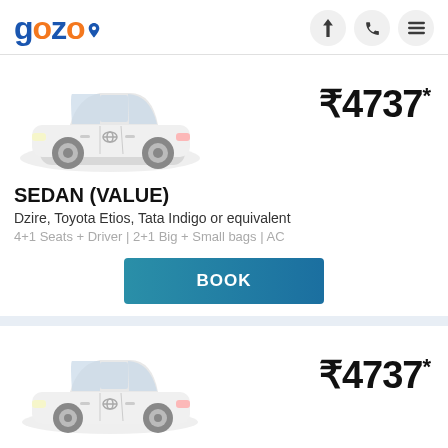gozo
[Figure (photo): White Toyota Etios sedan car photo for Sedan (Value) category]
₹4737*
SEDAN (VALUE)
Dzire, Toyota Etios, Tata Indigo or equivalent
4+1 Seats + Driver | 2+1 Big + Small bags | AC
BOOK
[Figure (photo): White Toyota Etios sedan car photo for second listing]
₹4737*